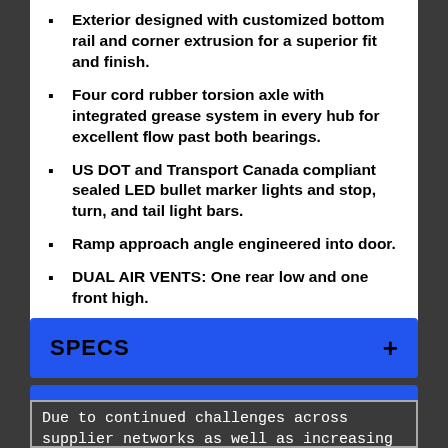Exterior designed with customized bottom rail and corner extrusion for a superior fit and finish.
Four cord rubber torsion axle with integrated grease system in every hub for excellent flow past both bearings.
US DOT and Transport Canada compliant sealed LED bullet marker lights and stop, turn, and tail light bars.
Ramp approach angle engineered into door.
DUAL AIR VENTS: One rear low and one front high.
Number of sleds - 2
SPECS
PHOTOS
Due to continued challenges across supplier networks as well as increasing logistics